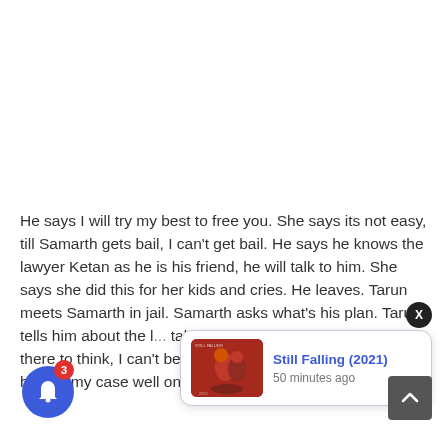He says I will try my best to free you. She says its not easy, till Samarth gets bail, I can't get bail. He says he knows the lawyer Ketan as he is his friend, he will talk to him. She says she did this for her kids and cries. He leaves. Tarun meets Samarth in jail. Samarth asks what's his plan. Tarun tells him about the l... take care of ki... s laughing.... what's there to think, I can't be here for one more day. I can handle my case well once I get free, and then
[Figure (screenshot): Notification popup for 'Still Falling (2021)' showing a movie poster thumbnail and '50 minutes ago' timestamp, with an X close button and a bell notification icon with badge showing 3]